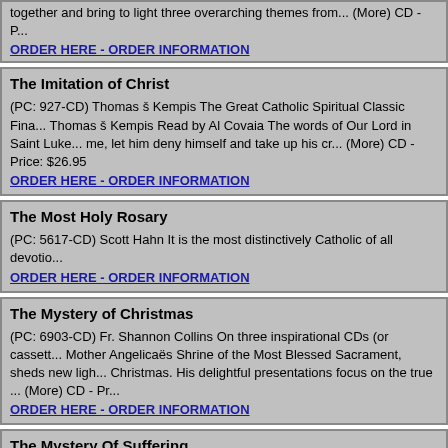together and bring to light three overarching themes from... (More) CD - Price:
ORDER HERE - ORDER INFORMATION
The Imitation of Christ
(PC: 927-CD) Thomas š Kempis The Great Catholic Spiritual Classic Fina... Thomas š Kempis Read by Al Covaia The words of Our Lord in Saint Luke... me, let him deny himself and take up his cr... (More) CD - Price: $26.95
ORDER HERE - ORDER INFORMATION
The Most Holy Rosary
(PC: 5617-CD) Scott Hahn It is the most distinctively Catholic of all devotio...
ORDER HERE - ORDER INFORMATION
The Mystery of Christmas
(PC: 6903-CD) Fr. Shannon Collins On three inspirational CDs (or cassett... Mother Angelicaës Shrine of the Most Blessed Sacrament, sheds new ligh... Christmas. His delightful presentations focus on the true ... (More) CD - Pr...
ORDER HERE - ORDER INFORMATION
The Mystery Of Suffering
(PC: 6406-CD) Jeff Cavins "If anyone wants to be a follower of mine, let h... every day and follow me." Luke 9:23 Like death and taxes, none of us cam... personal problems lik... (More) CD - Price: $23.95
ORDER HERE - ORDER INFORMATION
The Mystery of the Trinity Living in the Image of the Triune Family